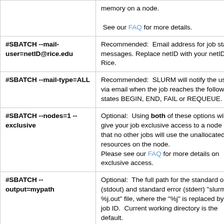| Command | Description |
| --- | --- |
| (continued from above) | memory on a node.
 See our FAQ for more details. |
| #SBATCH --mail-user=netID@rice.edu | Recommended:  Email address for job status messages. Replace netID with your netID as Rice. |
| #SBATCH --mail-type=ALL | Recommended:  SLURM will notify the user via email when the job reaches the following states BEGIN, END, FAIL or REQUEUE. |
| #SBATCH --nodes=1 --exclusive | Optional:  Using both of these options will give your job exclusive access to a node such that no other jobs will use the unallocated resources on the node.
Please see our FAQ for more details on exclusive access. |
| #SBATCH --output=mypath | Optional:  The full path for the standard output (stdout) and standard error (stderr) "slurm-%j.out" file, where the "%j" is replaced by the job ID.  Current working directory is the default. |
| #SBATCH -- | Optional:  The full path for the |